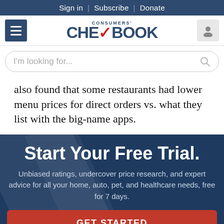Sign in  |  Subscribe  |  Donate
[Figure (logo): Consumers' Checkbook logo with red checkmark]
I'm looking for...
also found that some restaurants had lower menu prices for direct orders vs. what they list with the big-name apps.
Start Your Free Trial.
Unbiased ratings, undercover price research, and expert advice for all your home, auto, pet, and healthcare needs, free for 7 days.
GET STARTED
NO THANKS, MAYBE LATER.